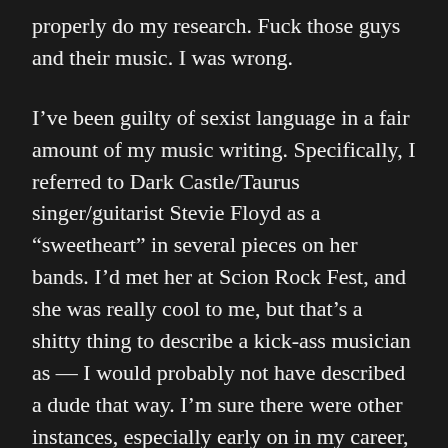properly do my research. Fuck those guys and their music. I was wrong.
I’ve been guilty of sexist language in a fair amount of my music writing. Specifically, I referred to Dark Castle/Taurus singer/guitarist Stevie Floyd as a “sweetheart” in several pieces on her bands. I’d met her at Scion Rock Fest, and she was really cool to me, but that’s a shitty thing to describe a kick-ass musician as — I would probably not have described a dude that way. I’m sure there were other instances, especially early on in my career, but that’s the one that stuck with me. So I’m sorry, Stevie (and any other female musician I referred to in a similar manner). I was wrong.